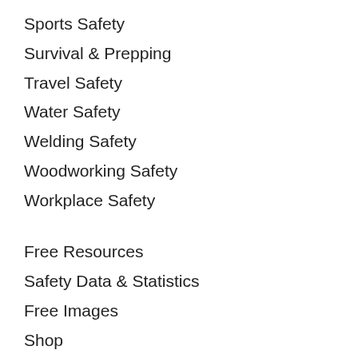Sports Safety
Survival & Prepping
Travel Safety
Water Safety
Welding Safety
Woodworking Safety
Workplace Safety
Free Resources
Safety Data & Statistics
Free Images
Shop